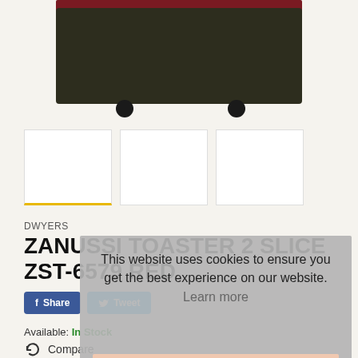[Figure (photo): Zanussi toaster product image — a dark olive/black 2-slice toaster with a dark red top panel and 'DWYERS HOME' label on front, shown from above-front angle on a cream background. Below are three thumbnail image placeholders, the first with a yellow bottom border indicating it is selected.]
DWYERS
ZANUSSI TOASTER 2 SLICE ZST-6579 RED
Share  Tweet
Available: In Stock
This website uses cookies to ensure you get the best experience on our website.
Learn more
Got it!
Compare